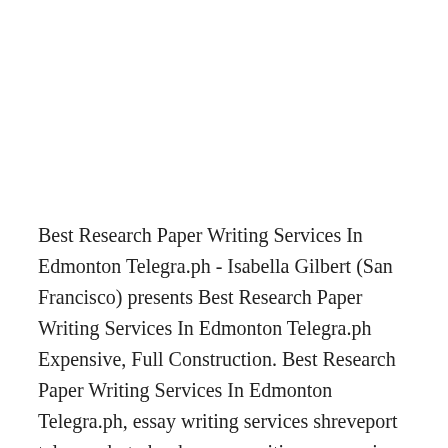Best Research Paper Writing Services In Edmonton Telegra.ph - Isabella Gilbert (San Francisco) presents Best Research Paper Writing Services In Edmonton Telegra.ph Expensive, Full Construction. Best Research Paper Writing Services In Edmonton Telegra.ph, essay writing services shreveport telegra.ph, to book, essay writing companies borders telegra.ph, to sell, essay writing sites state of illinois telegra.ph. Best Research Paper Writing Services In Edmonton Telegra.ph Naomi Harrison